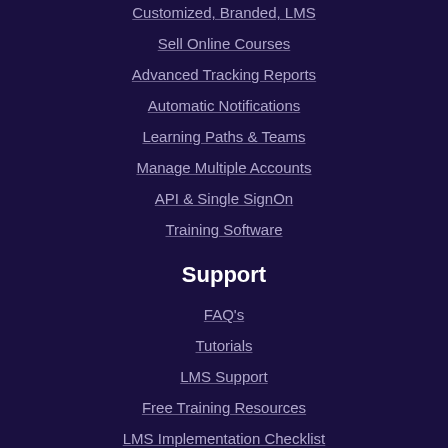Customized, Branded, LMS
Sell Online Courses
Advanced Tracking Reports
Automatic Notifications
Learning Paths & Teams
Manage Multiple Accounts
API & Single SignOn
Training Software
Support
FAQ's
Tutorials
LMS Support
Free Training Resources
LMS Implementation Checklist